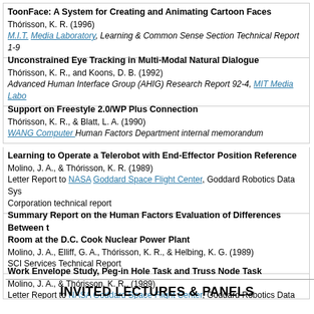ToonFace: A System for Creating and Animating Cartoon Faces
Thórisson, K. R. (1996)
M.I.T. Media Laboratory, Learning & Common Sense Section Technical Report 1-9
Unconstrained Eye Tracking in Multi-Modal Natural Dialogue
Thórisson, K. R., and Koons, D. B. (1992)
Advanced Human Interface Group (AHIG) Research Report 92-4, MIT Media Laboratory
Support on Freestyle 2.0/WP Plus Connection
Thórisson, K. R., & Blatt, L. A. (1990)
WANG Computer Human Factors Department internal memorandum
Learning to Operate a Telerobot with End-Effector Position Reference
Molino, J. A., & Thórisson, K. R. (1989)
Letter Report to NASA Goddard Space Flight Center, Goddard Robotics Data Systems Corporation technical report
Summary Report on the Human Factors Evaluation of Differences Between the Room at the D.C. Cook Nuclear Power Plant
Molino, J. A., Elliff, G. A., Thórisson, K. R., & Helbing, K. G. (1989)
SCI Services Technical Report
Work Envelope Study, Peg-in Hole Task and Truss Node Task
Molino, J. A., & Thórisson, K. R., (1989)
Letter Report to NASA Goddard Space Flight Center, Goddard Robotics Data Systems Corporation technical report
INVITED LECTURES & PANELS